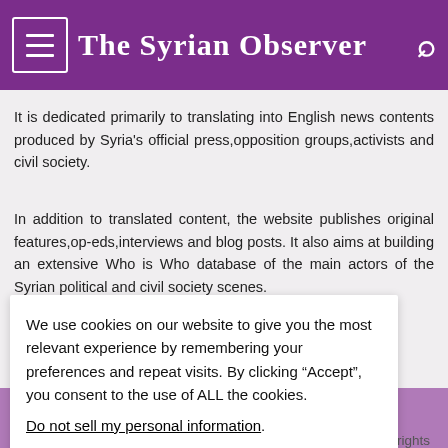The Syrian Observer
It is dedicated primarily to translating into English news contents produced by Syria's official press,opposition groups,activists and civil society.
In addition to translated content, the website publishes original features,op-eds,interviews and blog posts. It also aims at building an extensive Who is Who database of the main actors of the Syrian political and civil society scenes.
The Syrian Observer
We use cookies on our website to give you the most relevant experience by remembering your preferences and repeat visits. By clicking “Accept”, you consent to the use of ALL the cookies.
Do not sell my personal information.
ll rights